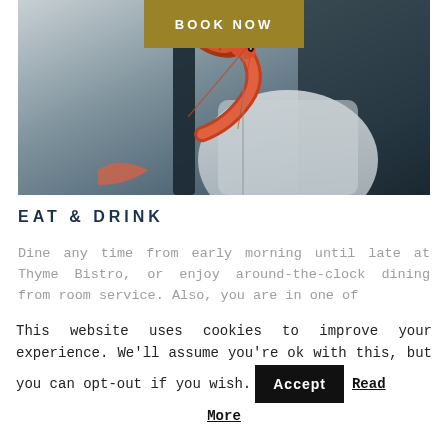[Figure (photo): Photo of a cooked shrimp/prawn held up, with blurred kitchen/restaurant background in dark and grey tones]
BOOK NOW
EAT & DRINK
Dine any time from early morning until late at Thyme Bistro, or enjoy around-the-clock dining from room service. Also, you are in one of
This website uses cookies to improve your experience. We'll assume you're ok with this, but you can opt-out if you wish. Accept Read More